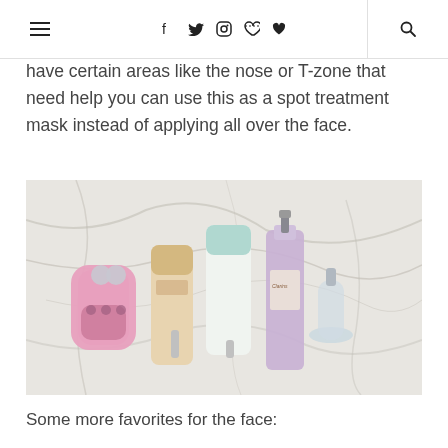Menu | f t instagram pinterest heart | search
have certain areas like the nose or T-zone that need help you can use this as a spot treatment mask instead of applying all over the face.
[Figure (photo): Flat lay of beauty and skincare products on a white marble surface: a pink facial device, two cream tubes, and a purple serum bottle with dropper]
Some more favorites for the face: